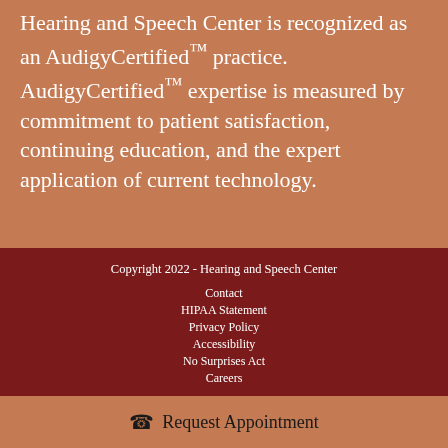Hearing and Speech Center is recognized as an AudigyCertified™ practice. AudigyCertified™ expertise is measured by commitment to patient satisfaction, continuing education, and the expert application of current technology.
Copyright 2022 - Hearing and Speech Center
Contact
HIPAA Statement
Privacy Policy
Accessibility
No Surprises Act
Careers
Request Appointment